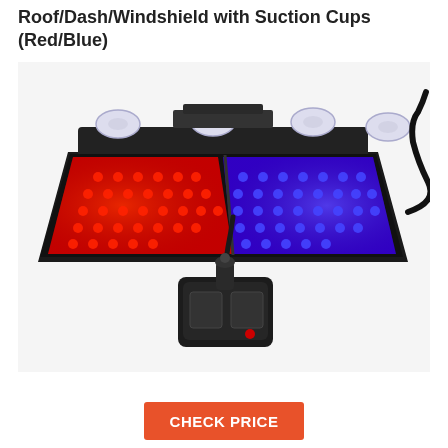Roof/Dash/Windshield with Suction Cups (Red/Blue)
[Figure (photo): Product photo of a red and blue LED emergency strobe light bar with suction cups for windshield/dash mounting, shown with a control switch/power adapter. The light bar has red LEDs on the left panel and blue LEDs on the right panel, with four suction cups on top and a coiled power cable.]
CHECK PRICE